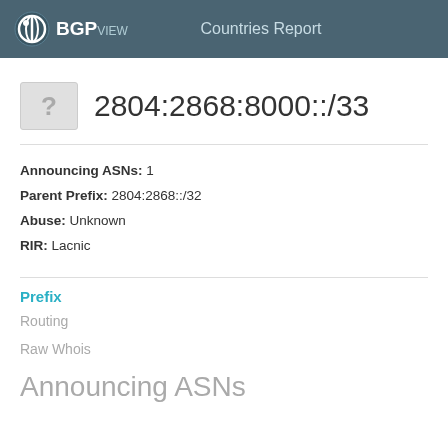BGPview  Countries Report
2804:2868:8000::/33
Announcing ASNs: 1
Parent Prefix: 2804:2868::/32
Abuse: Unknown
RIR: Lacnic
Prefix
Routing
Raw Whois
Announcing ASNs